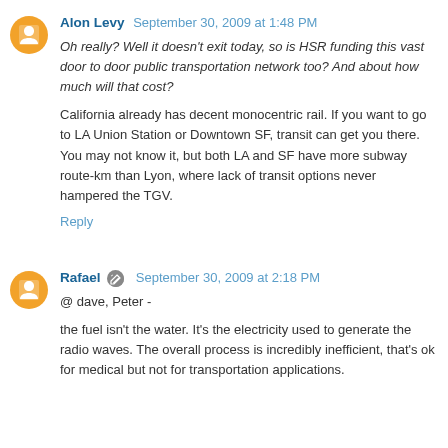Alon Levy September 30, 2009 at 1:48 PM
Oh really? Well it doesn't exit today, so is HSR funding this vast door to door public transportation network too? And about how much will that cost?
California already has decent monocentric rail. If you want to go to LA Union Station or Downtown SF, transit can get you there. You may not know it, but both LA and SF have more subway route-km than Lyon, where lack of transit options never hampered the TGV.
Reply
Rafael September 30, 2009 at 2:18 PM
@ dave, Peter -
the fuel isn't the water. It's the electricity used to generate the radio waves. The overall process is incredibly inefficient, that's ok for medical but not for transportation applications.